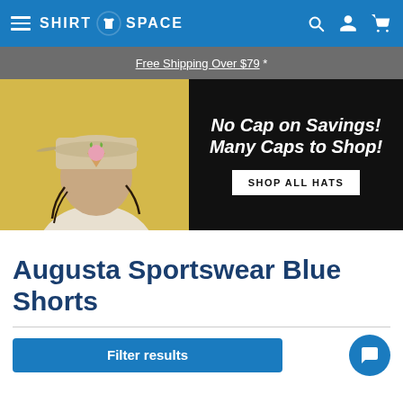Shirt Space — navigation bar with hamburger menu, logo, search, account, and cart icons
Free Shipping Over $79 *
[Figure (photo): Promotional banner for hats: person wearing a tan cap on yellow background on the left; black right panel with white italic bold text reading 'No Cap on Savings! Many Caps to Shop!' and a white button 'SHOP ALL HATS']
Augusta Sportswear Blue Shorts
Filter results